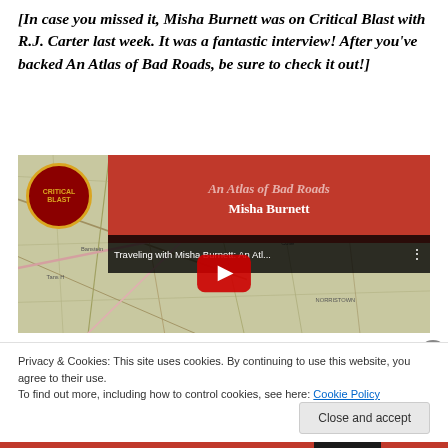[In case you missed it, Misha Burnett was on Critical Blast with R.J. Carter last week. It was a fantastic interview! After you've backed An Atlas of Bad Roads, be sure to check it out!]
[Figure (screenshot): YouTube video thumbnail for 'Traveling with Misha Burnett: An Atlas of Bad Roads' on Critical Blast channel, showing a road map background with a red title banner overlay and YouTube play button]
Privacy & Cookies: This site uses cookies. By continuing to use this website, you agree to their use.
To find out more, including how to control cookies, see here: Cookie Policy